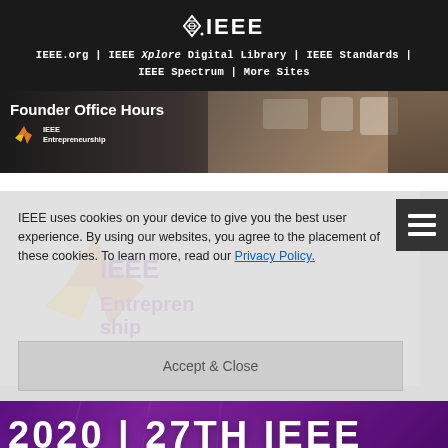IEEE.org | IEEE Xplore Digital Library | IEEE Standards | IEEE Spectrum | More Sites
[Figure (screenshot): IEEE Entrepreneurship Founder Office Hours banner with coffee cup background image]
IEEE uses cookies on your device to give you the best user experience. By using our websites, you agree to the placement of these cookies. To learn more, read our Privacy Policy.
[Figure (logo): IEEE Entrepreneurship logo with orange and yellow star/arrow design]
Accept & Close
2020 | 27TH IEEE